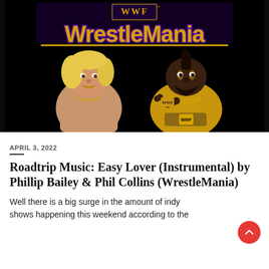[Figure (illustration): WWF WrestleMania logo at top on black background with two wrestlers below — a blonde muscular man on the left (Hulk Hogan) and a large man with mohawk and gold attire on the right (Mr. T), both posed against a dark background.]
APRIL 3, 2022
Roadtrip Music: Easy Lover (Instrumental) by Phillip Bailey & Phil Collins (WrestleMania)
Well there is a big surge in the amount of indy shows happening this weekend according to the